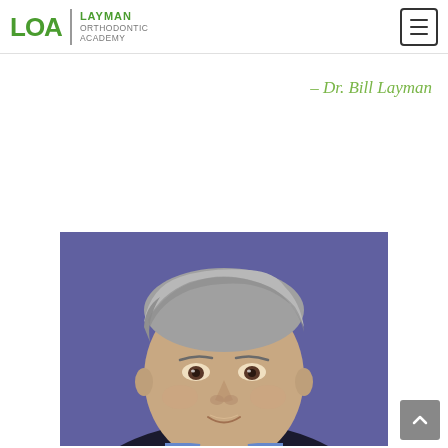LOA | LAYMAN ORTHODONTIC ACADEMY
– Dr. Bill Layman
[Figure (photo): Professional headshot of Dr. Bill Layman, a middle-aged man with gray hair, wearing a dark suit, photographed against a purple/blue background]